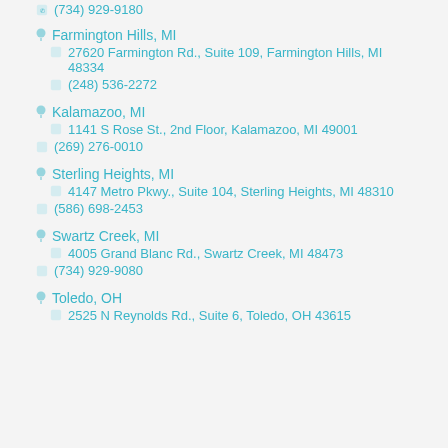(734) 929-9180
Farmington Hills, MI
27620 Farmington Rd., Suite 109, Farmington Hills, MI 48334
(248) 536-2272
Kalamazoo, MI
1141 S Rose St., 2nd Floor, Kalamazoo, MI 49001
(269) 276-0010
Sterling Heights, MI
4147 Metro Pkwy., Suite 104, Sterling Heights, MI 48310
(586) 698-2453
Swartz Creek, MI
4005 Grand Blanc Rd., Swartz Creek, MI 48473
(734) 929-9080
Toledo, OH
2525 N Reynolds Rd., Suite 6, Toledo, OH 43615